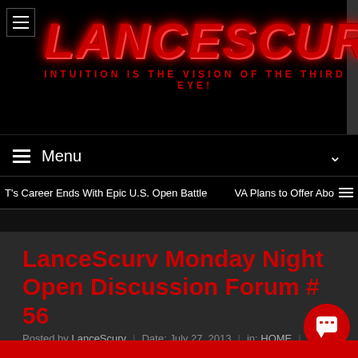[Figure (screenshot): LanceScurv website header with red neon logo text on black background]
Menu
T's Career Ends With Epic U.S. Open Battle | VA Plans to Offer Abo
LanceScurv Monday Night Open Discussion Forum # 56
Posted by LanceScurv | Date: July 27, 2013 | in: HOME | Leave a comment